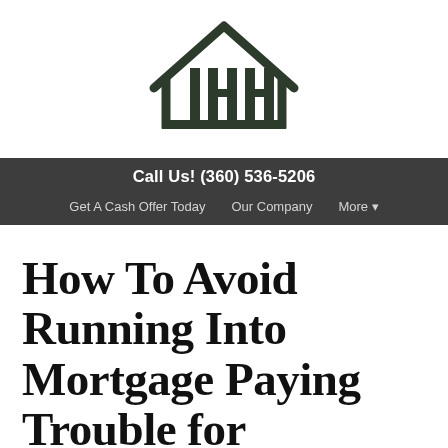[Figure (logo): IHH logo — stylized house outline with vertical bars forming the letters I, H, H inside, dark green/black color, with a horizontal baseline bar]
Call Us! (360) 536-5206
Get A Cash Offer Today   Our Company   More ▾
How To Avoid Running Into Mortgage Paying Trouble for Vancouver